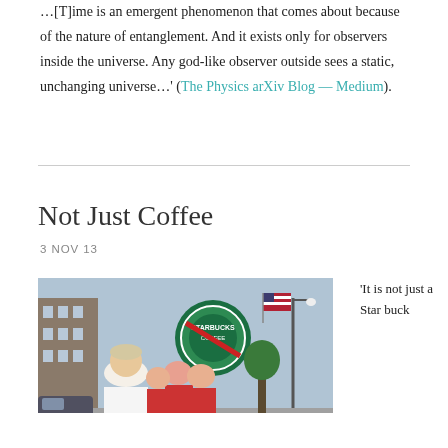…[T]ime is an emergent phenomenon that comes about because of the nature of entanglement. And it exists only for observers inside the universe. Any god-like observer outside sees a static, unchanging universe…' (The Physics arXiv Blog — Medium).
Not Just Coffee
3 NOV 13
[Figure (photo): Photograph of people marching on a street, one holding a Starbucks protest sign. A man with white/grey hair in a white shirt is prominent in the foreground. People wearing red shirts are visible behind him.]
'It is not just a Star buck